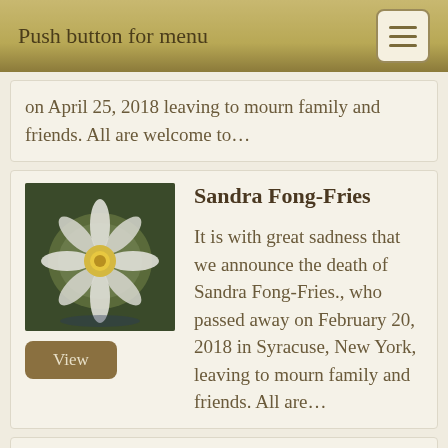Push button for menu
on April 25, 2018 leaving to mourn family and friends. All are welcome to…
Sandra Fong-Fries
It is with great sadness that we announce the death of Sandra Fong-Fries., who passed away on February 20, 2018 in Syracuse, New York, leaving to mourn family and friends. All are…
Emerita Perez